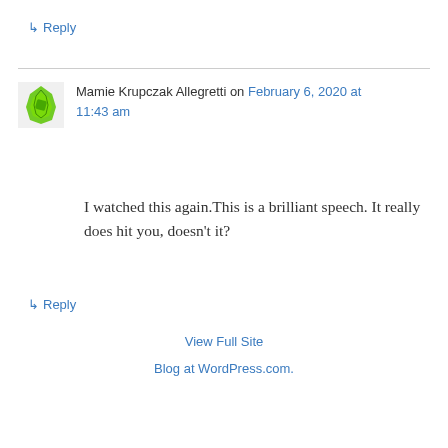↳ Reply
Mamie Krupczak Allegretti on February 6, 2020 at 11:43 am
I watched this again.This is a brilliant speech. It really does hit you, doesn't it?
↳ Reply
View Full Site
Blog at WordPress.com.